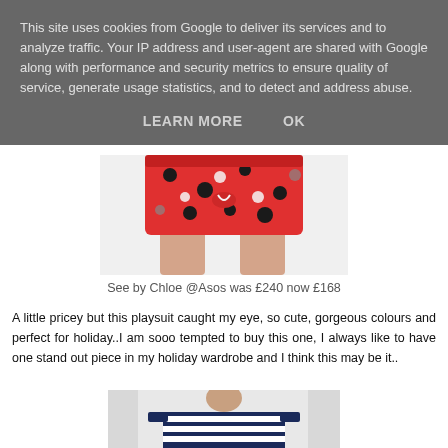This site uses cookies from Google to deliver its services and to analyze traffic. Your IP address and user-agent are shared with Google along with performance and security metrics to ensure quality of service, generate usage statistics, and to detect and address abuse.
LEARN MORE   OK
[Figure (photo): Red polka dot playsuit/shorts on a model, cropped to show lower torso and upper legs. White background.]
See by Chloe @Asos was £240 now £168
A little pricey but this playsuit caught my eye, so cute, gorgeous colours and perfect for holiday..I am sooo tempted to buy this one, I always like to have one stand out piece in my holiday wardrobe and I think this may be it..
[Figure (photo): Model wearing a navy and white striped top, cropped at shoulders/neck area. Light grey curtain background.]